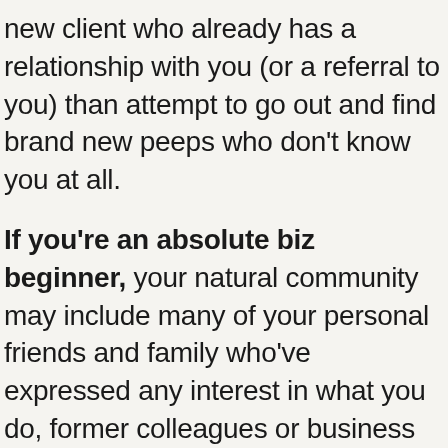new client who already has a relationship with you (or a referral to you) than attempt to go out and find brand new peeps who don't know you at all.
If you're an absolute biz beginner, your natural community may include many of your personal friends and family who've expressed any interest in what you do, former colleagues or business contacts who don't know you're starting something new, or even your mentor or other professionals offering similar services (seriously, ask. Because if they are really good, they're likely turning people away, have a waitlist, or would happily help you get the ball rolling).